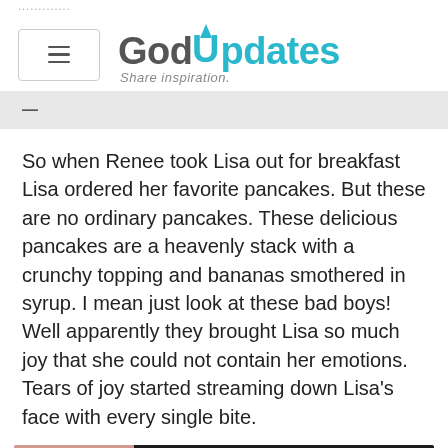GodUpdates — Share inspiration.
So when Renee took Lisa out for breakfast Lisa ordered her favorite pancakes. But these are no ordinary pancakes. These delicious pancakes are a heavenly stack with a crunchy topping and bananas smothered in syrup. I mean just look at these bad boys! Well apparently they brought Lisa so much joy that she could not contain her emotions. Tears of joy started streaming down Lisa's face with every single bite.
[Figure (photo): A photo showing a person in a car, partially blurred on the left side with a reddish/pink blur, and the right side showing a person in dark clothing inside a vehicle.]